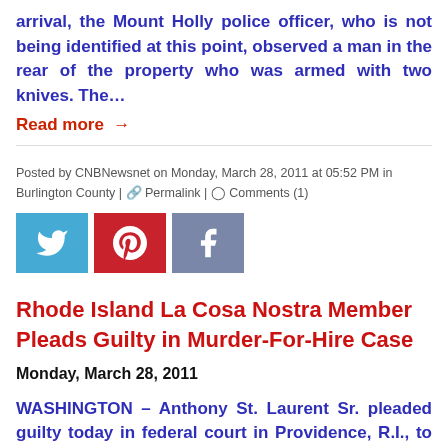arrival, the Mount Holly police officer, who is not being identified at this point, observed a man in the rear of the property who was armed with two knives. The…
Read more →
Posted by CNBNewsnet on Monday, March 28, 2011 at 05:52 PM in Burlington County | Permalink | Comments (1)
[Figure (infographic): Social media share buttons: Twitter (blue), Pinterest (red), Facebook (gray-blue)]
Rhode Island La Cosa Nostra Member Pleads Guilty in Murder-For-Hire Case
Monday, March 28, 2011
WASHINGTON – Anthony St. Laurent Sr. pleaded guilty today in federal court in Providence, R.I., to an attempted murder-for-hire, and acknowledged in a written plea agreement his participation in an extortion